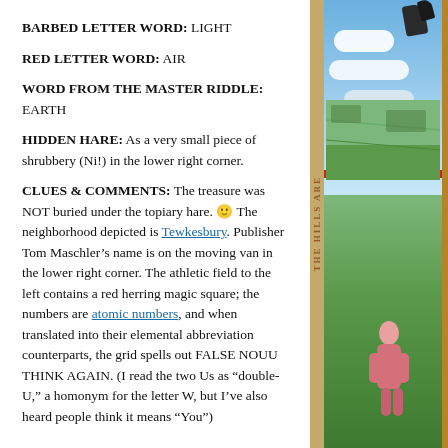BARBED LETTER WORD: LIGHT
RED LETTER WORD: AIR
WORD FROM THE MASTER RIDDLE: EARTH
HIDDEN HARE: As a very small piece of shrubbery (Ni!) in the lower right corner.
CLUES & COMMENTS: The treasure was NOT buried under the topiary hare. 🙂 The neighborhood depicted is Tewkesbury. Publisher Tom Maschler’s name is on the moving van in the lower right corner. The athletic field to the left contains a red herring magic square; the numbers are atomic numbers, and when translated into their elemental abbreviation counterparts, the grid spells out FALSE NOUU THINK AGAIN. (I read the two Us as “double-U,” a homonym for the letter W, but I’ve also heard people think it means “You”)
[Figure (illustration): Decorative medieval/fantasy style illustration showing a stone border with vertical text, sky with clouds, dark birds, red stripe, green rolling hills and fields, and a pink figure silhouette]